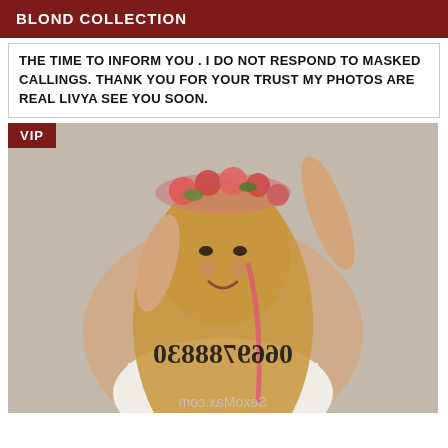BLOND COLLECTION
THE TIME TO INFORM YOU . I DO NOT RESPOND TO MASKED CALLINGS. THANK YOU FOR YOUR TRUST MY PHOTOS ARE REAL LIVYA SEE YOU SOON.
[Figure (photo): Photo of a smiling young woman with long blond highlighted hair wearing a floral crown and white lingerie, arms raised. A phone number is overlaid in mirrored/stylized text: 0669788830. Bottom watermark: SexoMax.com. VIP badge in top-left corner.]